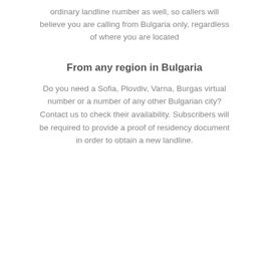ordinary landline number as well, so callers will believe you are calling from Bulgaria only, regardless of where you are located
From any region in Bulgaria
Do you need a Sofia, Plovdiv, Varna, Burgas virtual number or a number of any other Bulgarian city? Contact us to check their availability. Subscribers will be required to provide a proof of residency document in order to obtain a new landline.